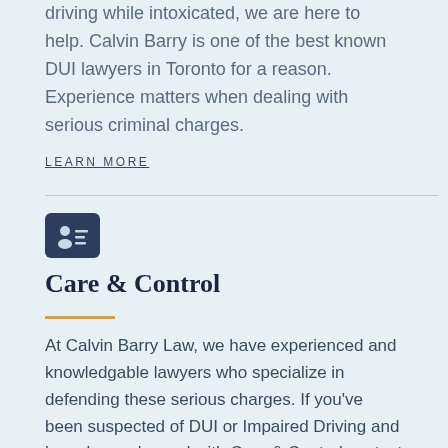driving while intoxicated, we are here to help. Calvin Barry is one of the best known DUI lawyers in Toronto for a reason. Experience matters when dealing with serious criminal charges.
LEARN MORE
[Figure (illustration): Dark navy rounded rectangle icon with a person silhouette and horizontal lines resembling a contact card or ID badge]
Care & Control
At Calvin Barry Law, we have experienced and knowledgable lawyers who specialize in defending these serious charges. If you've been suspected of DUI or Impaired Driving and have been charged with Care & Control contact us today for a free